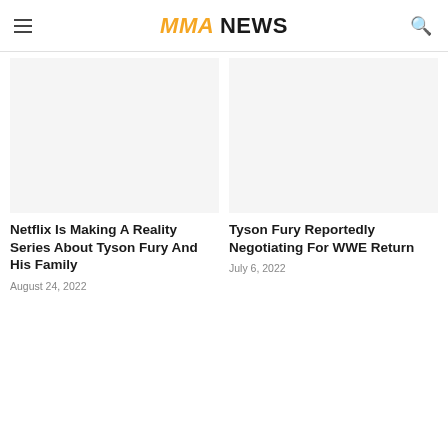MMA NEWS
[Figure (photo): Article thumbnail image placeholder for Netflix Tyson Fury article]
Netflix Is Making A Reality Series About Tyson Fury And His Family
August 24, 2022
[Figure (photo): Article thumbnail image placeholder for WWE Return article]
Tyson Fury Reportedly Negotiating For WWE Return
July 6, 2022